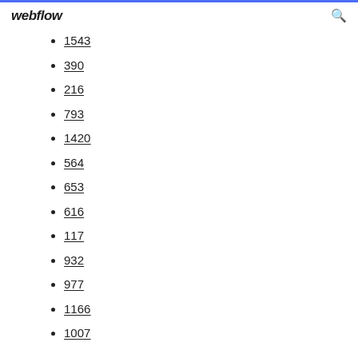webflow
1543
390
216
793
1420
564
653
616
117
932
977
1166
1007